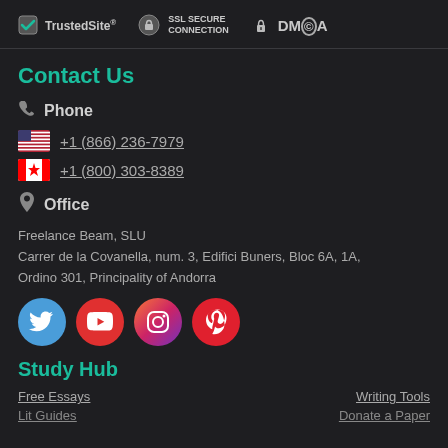TrustedSite | SSL SECURE CONNECTION | DMCA
Contact Us
Phone
+1 (866) 236-7979
+1 (800) 303-8389
Office
Freelance Beam, SLU
Carrer de la Covanella, num. 3, Edifici Buners, Bloc 6A, 1A, Ordino 301, Principality of Andorra
[Figure (logo): Social media icons: Twitter, YouTube, Instagram, Pinterest]
Study Hub
Free Essays
Writing Tools
Lit Guides
Donate a Paper